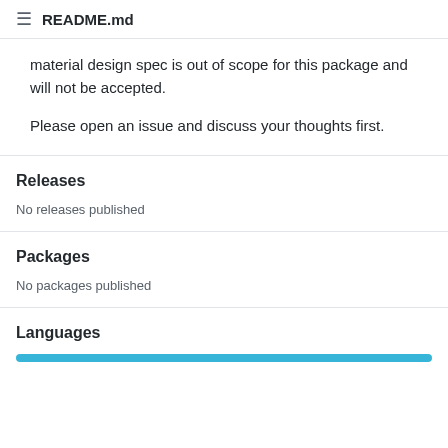README.md
material design spec is out of scope for this package and will not be accepted.
Please open an issue and discuss your thoughts first.
Releases
No releases published
Packages
No packages published
Languages